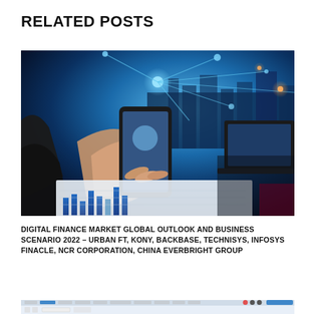RELATED POSTS
[Figure (photo): Person holding smartphone with digital finance network visualization — glowing blue lines and nodes floating above a city background, with a laptop displaying charts in the background]
DIGITAL FINANCE MARKET GLOBAL OUTLOOK AND BUSINESS SCENARIO 2022 – URBAN FT, KONY, BACKBASE, TECHNISYS, INFOSYS FINACLE, NCR CORPORATION, CHINA EVERBRIGHT GROUP
[Figure (screenshot): Screenshot of Microsoft Word document showing Home ribbon toolbar]